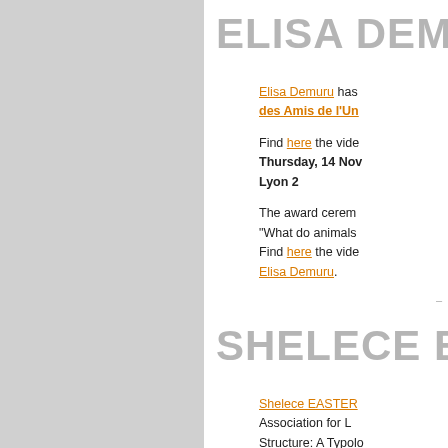ELISA DEMURU
Elisa Demuru has [link: des Amis de l'Un...]
Find here the vide... Thursday, 14 Nov... Lyon 2
The award cerem... "What do animals... Find here the vide... Elisa Demuru.
SHELECE EA...
Shelece EASTER... Association for L... Structure: A Typolo... (PhD, University o...